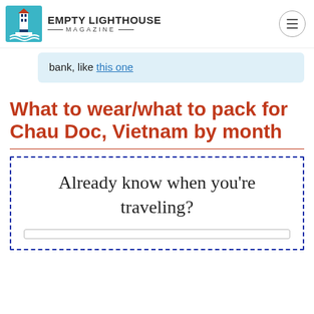EMPTY LIGHTHOUSE MAGAZINE
bank, like this one
What to wear/what to pack for Chau Doc, Vietnam by month
Already know when you're traveling?